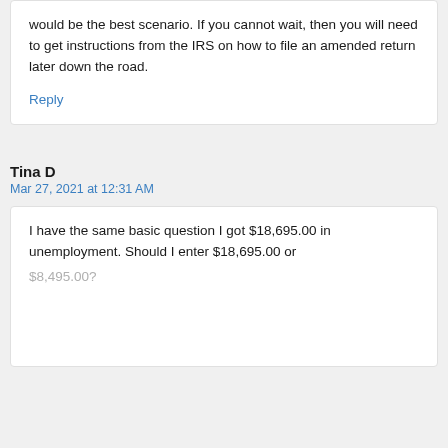would be the best scenario. If you cannot wait, then you will need to get instructions from the IRS on how to file an amended return later down the road.
Reply
Tina D
Mar 27, 2021 at 12:31 AM
I have the same basic question I got $18,695.00 in unemployment. Should I enter $18,695.00 or $8,495.00?